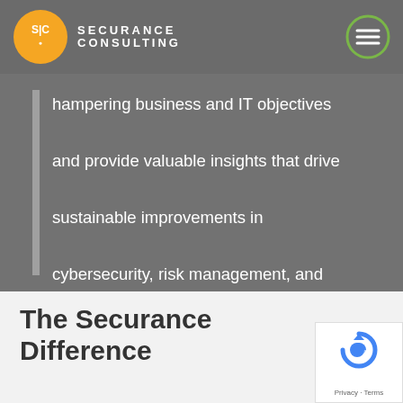[Figure (logo): Securance Consulting logo with orange circle containing 'S|C' and company name text in white on dark grey header bar, with green hamburger menu icon on the right]
hampering business and IT objectives and provide valuable insights that drive sustainable improvements in cybersecurity, risk management, and the alignment of business and IT.
The Securance Difference
[Figure (other): Google reCAPTCHA badge with blue circular arrow logo and Privacy · Terms text]